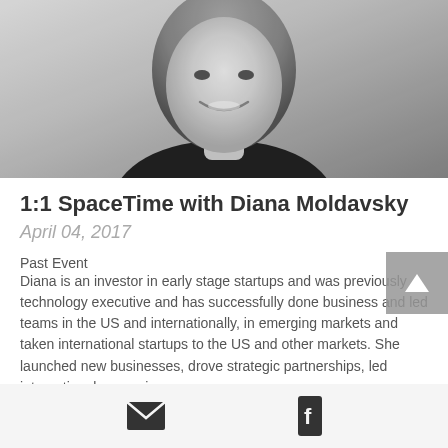[Figure (photo): Black and white headshot photo of Diana Moldavsky, a smiling woman with long hair wearing a dark top]
1:1 SpaceTime with Diana Moldavsky
April 04, 2017
Past Event
Diana is an investor in early stage startups and was previously technology executive and has successfully done business and led teams in the US and internationally, in emerging markets and taken international startups to the US and other markets. She launched new businesses, drove strategic partnerships, led international expansion